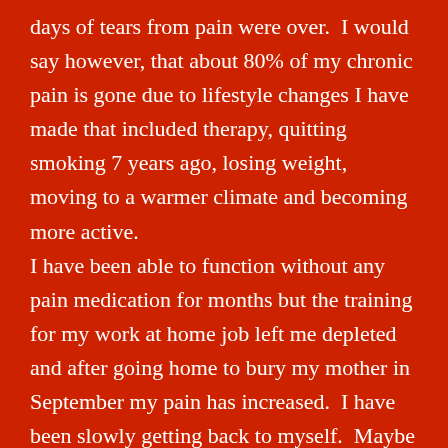days of tears from pain were over.  I would say however, that about 80% of my chronic pain is gone due to lifestyle changes I have made that included therapy, quitting smoking 7 years ago, losing weight, moving to a warmer climate and becoming more active. I have been able to function without any pain medication for months but the training for my work at home job left me depleted and after going home to bury my mother in September my pain has increased.  I have been slowly getting back to myself.  Maybe I just need to be still for a while. I am going to go see a pain specialist for the remaining pain in my neck, shoulder, upper back, my arm, hand, wrist and fingers. This doctor does not automatically write a prescription but treats the specific area first